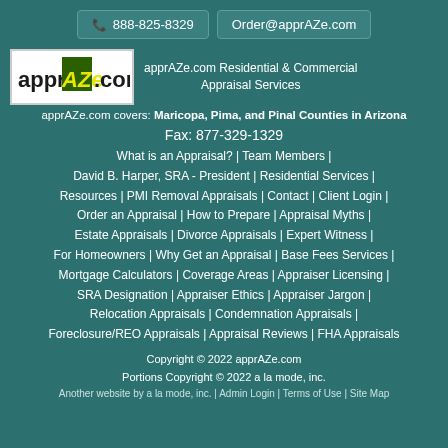888-825-8329
Order@apprAZe.com
[Figure (logo): apprAZe.com logo with yellow AZ letters on dark green background]
apprAZe.com Residential & Commercial Appraisal Services
apprAZe.com covers: Maricopa, Pima, and Pinal Counties in Arizona
Fax: 877-329-1329
What is an Appraisal? | Team Members | David B. Harper, SRA - President | Residential Services | Resources | PMI Removal Appraisals | Contact | Client Login | Order an Appraisal | How to Prepare | Appraisal Myths | Estate Appraisals | Divorce Appraisals | Expert Witness | For Homeowners | Why Get an Appraisal | Base Fees Services | Mortgage Calculators | Coverage Areas | Appraiser Licensing | SRA Designation | Appraiser Ethics | Appraiser Jargon | Relocation Appraisals | Condemnation Appraisals | Foreclosure/REO Appraisals | Appraisal Reviews | FHA Appraisals
Copyright © 2022 apprAZe.com
Portions Copyright © 2022 a la mode, inc.
Another website by a la mode, inc. | Admin Login | Terms of Use | Site Map